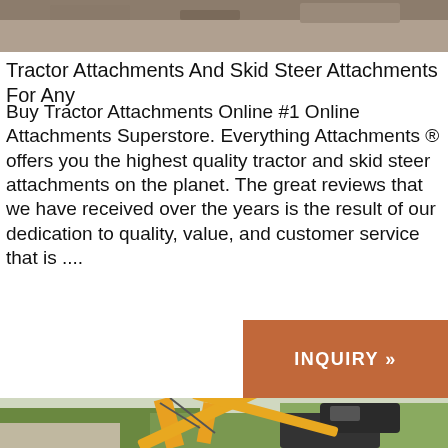[Figure (photo): Top portion of outdoor scene with dirt/gravel background, partially cropped]
Tractor Attachments And Skid Steer Attachments For Any
Buy Tractor Attachments Online #1 Online Attachments Superstore. Everything Attachments ® offers you the highest quality tractor and skid steer attachments on the planet. The great reviews that we have received over the years is the result of our dedication to quality, value, and customer service that is ....
[Figure (other): Orange/rust colored inquiry button with text INQUIRY »]
[Figure (photo): Yellow excavator/backhoe tractor attachment with orange arm, photographed outdoors with trees and buildings in background]